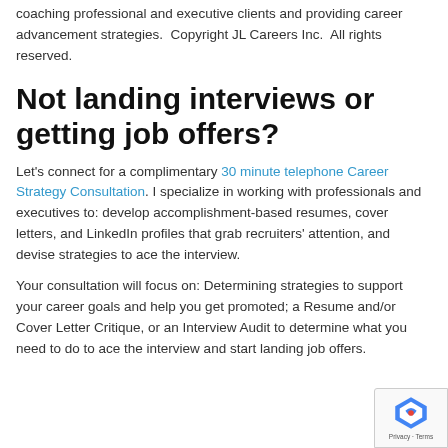coaching professional and executive clients and providing career advancement strategies.  Copyright JL Careers Inc.  All rights reserved.
Not landing interviews or getting job offers?
Let's connect for a complimentary 30 minute telephone Career Strategy Consultation. I specialize in working with professionals and executives to: develop accomplishment-based resumes, cover letters, and LinkedIn profiles that grab recruiters' attention, and devise strategies to ace the interview.
Your consultation will focus on: Determining strategies to support your career goals and help you get promoted; a Resume and/or Cover Letter Critique, or an Interview Audit to determine what you need to do to ace the interview and start landing job offers.